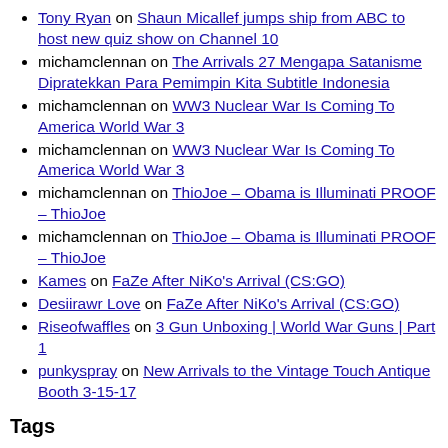Tony Ryan on Shaun Micallef jumps ship from ABC to host new quiz show on Channel 10
michamclennan on The Arrivals 27 Mengapa Satanisme Dipratekkan Para Pemimpin Kita Subtitle Indonesia
michamclennan on WW3 Nuclear War Is Coming To America World War 3
michamclennan on WW3 Nuclear War Is Coming To America World War 3
michamclennan on ThioJoe – Obama is Illuminati PROOF – ThioJoe
michamclennan on ThioJoe – Obama is Illuminati PROOF – ThioJoe
Kames on FaZe After NiKo's Arrival (CS:GO)
Desiirawr Love on FaZe After NiKo's Arrival (CS:GO)
Riseofwaffles on 3 Gun Unboxing | World War Guns | Part 1
punkyspray on New Arrivals to the Vintage Touch Antique Booth 3-15-17
Tags
9/11 2012 Afghanistan al-Qaeda America Barack Obama China CIA Dajjal Dajjal Illuminati Doomsday economic collapse economic crisis evidence false flag false flag operation false flag terror Illuminati